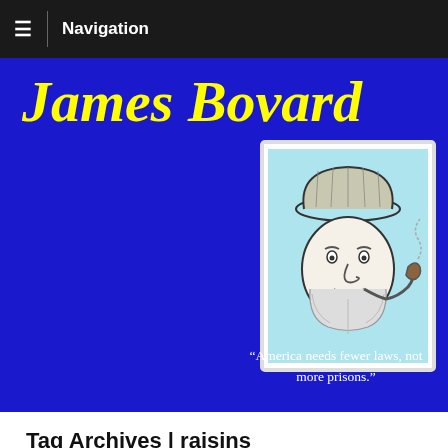≡  Navigation
James Bovard
[Figure (illustration): Cartoon illustration of a bearded man wearing a cap and smoking a pipe, drawn in black ink on a light blue background, inside a white-bordered frame]
"America needs fewer laws, not more prisons."
Tag Archives | raisins